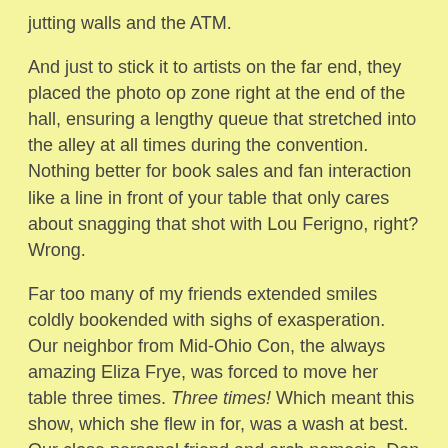jutting walls and the ATM.
And just to stick it to artists on the far end, they placed the photo op zone right at the end of the hall, ensuring a lengthy queue that stretched into the alley at all times during the convention. Nothing better for book sales and fan interaction like a line in front of your table that only cares about snagging that shot with Lou Ferigno, right? Wrong.
Far too many of my friends extended smiles coldly bookended with sighs of exasperation. Our neighbor from Mid-Ohio Con, the always amazing Eliza Frye, was forced to move her table three times. Three times! Which meant this show, which she flew in for, was a wash at best. Our close personal friend and arch nemesis, Dan "Beardo Comics" Dougherty, was one of the unlucky ones shoehorned near the photo op booth. He "made table" (as we in-the-know like to say) but didn't quite reach his personal goal. Given that he makes comics for a living? This means less living for Dan. On one hand, I'm glad my arch nemesis failed. On the other